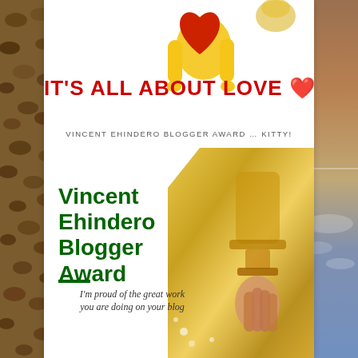[Figure (illustration): Blog post image with coffee bean background on left, sky background on right, white center card. Top section shows cartoon character holding a red heart. Bold red text reads IT'S ALL ABOUT LOVE with red heart emoji. Below is small caps text: VINCENT EHINDERO BLOGGER AWARD ... KITTY! Bottom half shows Vincent Ehindero Blogger Award card with green bold title text, a gold trophy image, and italic text: I'm proud of the great work you are doing on your blog.]